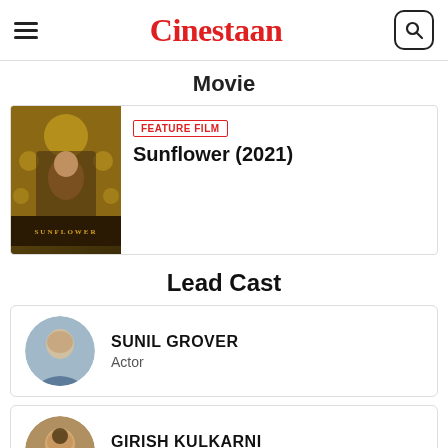Cinestaan
Movie
[Figure (photo): Movie poster for Sunflower (2021) showing a man in dark clothing against a golden decorative background]
FEATURE FILM
Sunflower (2021)
Lead Cast
SUNIL GROVER
Actor
GIRISH KULKARNI
Actor